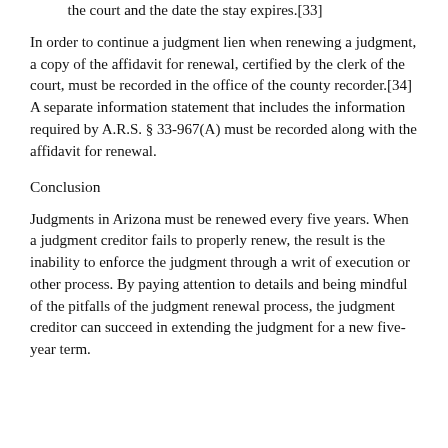the court and the date the stay expires.[33]
In order to continue a judgment lien when renewing a judgment, a copy of the affidavit for renewal, certified by the clerk of the court, must be recorded in the office of the county recorder.[34] A separate information statement that includes the information required by A.R.S. § 33-967(A) must be recorded along with the affidavit for renewal.
Conclusion
Judgments in Arizona must be renewed every five years. When a judgment creditor fails to properly renew, the result is the inability to enforce the judgment through a writ of execution or other process. By paying attention to details and being mindful of the pitfalls of the judgment renewal process, the judgment creditor can succeed in extending the judgment for a new five-year term.